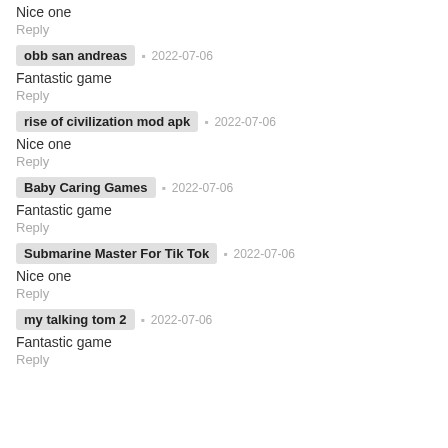Nice one
Reply
obb san andreas · 2022-07-06
Fantastic game
Reply
rise of civilization mod apk · 2022-07-06
Nice one
Reply
Baby Caring Games · 2022-07-06
Fantastic game
Reply
Submarine Master For Tik Tok · 2022-07-06
Nice one
Reply
my talking tom 2 · 2022-07-06
Fantastic game
Reply